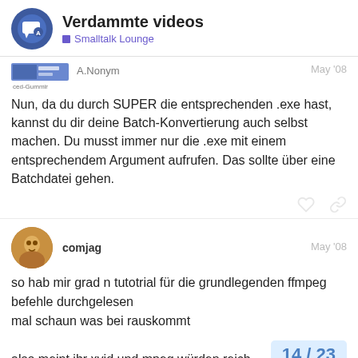Verdammte videos — Smalltalk Lounge
A.Nonym — May '08
[Figure (screenshot): User avatar image showing a blue banner/image for user ced-Gummir]
Nun, da du durch SUPER die entsprechenden .exe hast, kannst du dir deine Batch-Konvertierung auch selbst machen. Du musst immer nur die .exe mit einem entsprechendem Argument aufrufen. Das sollte über eine Batchdatei gehen.
comjag — May '08
so hab mir grad n tutotrial für die grundlegenden ffmpeg befehle durchgelesen
mal schaun was bei rauskommt

also meint ihr xvid und mpeg würden reich
14 / 23